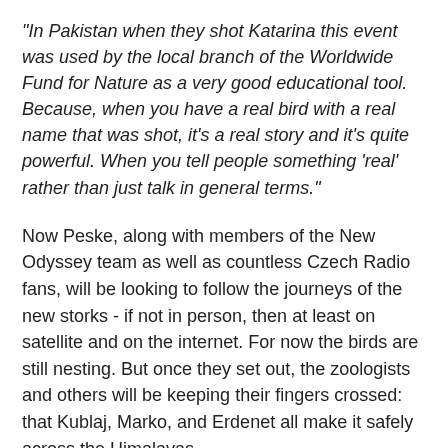"In Pakistan when they shot Katarina this event was used by the local branch of the Worldwide Fund for Nature as a very good educational tool. Because, when you have a real bird with a real name that was shot, it's a real story and it's quite powerful. When you tell people something 'real' rather than just talk in general terms."
Now Peske, along with members of the New Odyssey team as well as countless Czech Radio fans, will be looking to follow the journeys of the new storks - if not in person, then at least on satellite and on the internet. For now the birds are still nesting. But once they set out, the zoologists and others will be keeping their fingers crossed: that Kublaj, Marko, and Erdenet all make it safely across the Himalayas.
For more information and for maps that will update